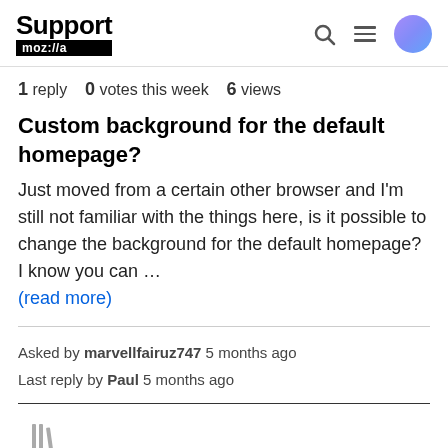Support moz://a
1 reply   0 votes this week   6 views
Custom background for the default homepage?
Just moved from a certain other browser and I'm still not familiar with the things here, is it possible to change the background for the default homepage? I know you can … (read more)
Asked by marvellfairuz747 5 months ago
Last reply by Paul 5 months ago
[Figure (illustration): Library/bookmark icon in light gray]
Firefox
desktop
Firefox 93.0
websites